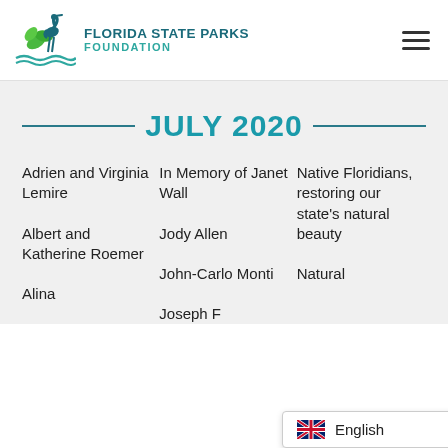[Figure (logo): Florida State Parks Foundation logo with heron and leaves graphic]
JULY 2020
Adrien and Virginia Lemire
Albert and Katherine Roemer
Alina
In Memory of Janet Wall
Jody Allen
John-Carlo Monti
Joseph F
Native Floridians, restoring our state's natural beauty
Natural